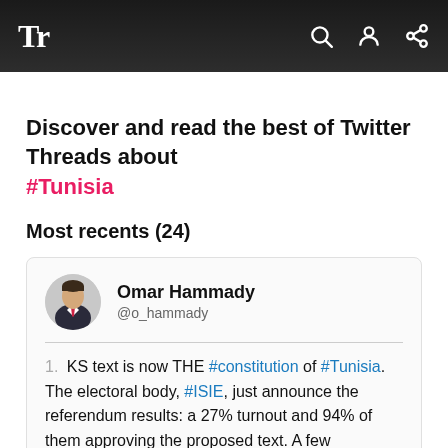Tr
Discover and read the best of Twitter Threads about #Tunisia
Most recents (24)
Omar Hammady @o_hammady
1. KS text is now THE #constitution of #Tunisia. The electoral body, #ISIE, just announce the referendum results: a 27% turnout and 94% of them approving the proposed text. A few takeaways: